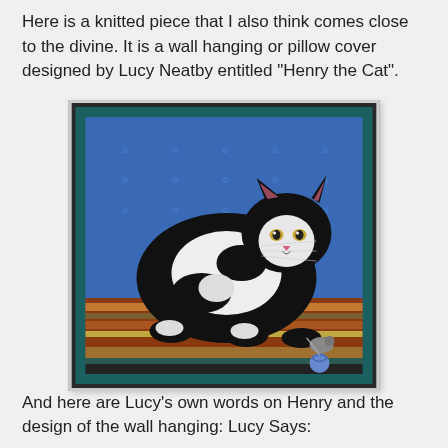Here is a knitted piece that I also think comes close to the divine. It is a wall hanging or pillow cover designed by Lucy Neatby entitled "Henry the Cat".
[Figure (photo): A knitted wall hanging or pillow cover depicting a black and white cat (Henry) sitting on a striped rug, with a blue knitted background decorated with small motifs. The cat has white patches on a black body and is looking forward. There is a small toy near the cat's paws.]
And here are Lucy's own words on Henry and the design of the wall hanging: Lucy Says: